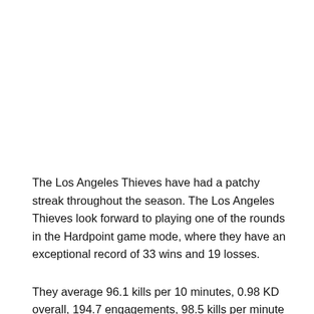The Los Angeles Thieves have had a patchy streak throughout the season. The Los Angeles Thieves look forward to playing one of the rounds in the Hardpoint game mode, where they have an exceptional record of 33 wins and 19 losses.
They average 96.1 kills per 10 minutes, 0.98 KD overall, 194.7 engagements, 98.5 kills per minute over 48 matches in